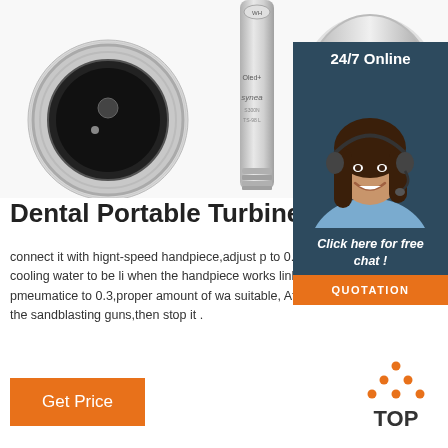[Figure (photo): Three views of a dental turbine handpiece (Synea Oled+ brand) — a close-up of the connector end, a full side view, and a zoomed-in cropped view showing the Oled+ and Synea branding on the metal body.]
[Figure (photo): Customer service representative smiling with headset, in front of a dark blue background with '24/7 Online' text.]
Dental Portable Turbine Unit
connect it with hignt-speed handpiece,adjust p to 0.2,adjust conditioning cooling water to be li when the handpiece works linking sandblastin adjust pmeumatice to 0.3,proper amount of wa suitable, After using,first shut off the sandblasting guns,then stop it .
Click here for free chat !
QUOTATION
Get Price